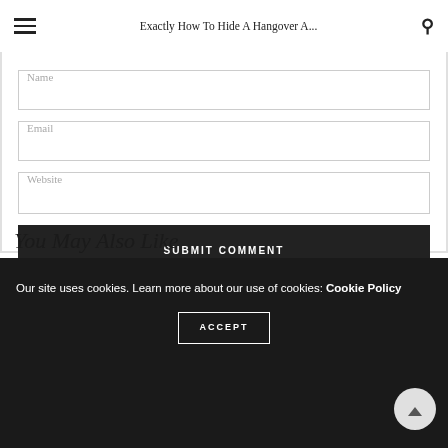Exactly How To Hide A Hangover A...
Name
Email
Website
SUBMIT COMMENT
You May Also Like
Our site uses cookies. Learn more about our use of cookies: Cookie Policy
ACCEPT